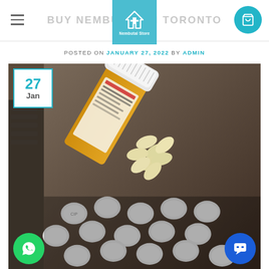BUY NEMBUTAL IN TORONTO
POSTED ON JANUARY 27, 2022 BY ADMIN
[Figure (photo): Orange prescription pill bottle tipped over spilling yellow/white oval pills, with multiple white round tablets scattered on a dark reflective surface, seen from above at an angle. Date badge overlay shows '27 Jan'. WhatsApp button (green) at bottom left, chat button (blue) at bottom right.]